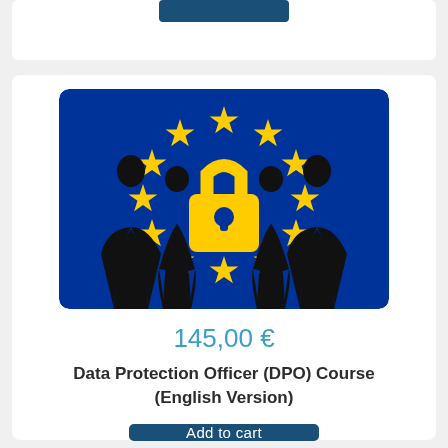[Figure (illustration): Top portion of a product card with a dark blue 'Add to cart' button visible at the top]
[Figure (illustration): EU flag background (dark blue with circle of 12 yellow stars) showing silhouettes of four people (two men, two women) standing around a large yellow padlock in the center]
145,00 €
Data Protection Officer (DPO) Course (English Version)
Add to cart